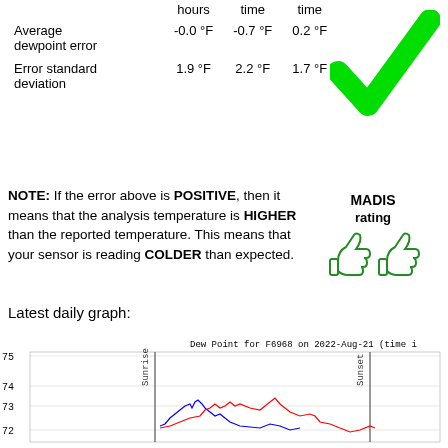|  | hours | time | time |
| --- | --- | --- | --- |
| Average dewpoint error | -0.0 °F | -0.7 °F | 0.2 °F |
| Error standard deviation | 1.9 °F | 2.2 °F | 1.7 °F |
[Figure (illustration): Large green checkmark symbol]
NOTE: If the error above is POSITIVE, then it means that the analysis temperature is HIGHER than the reported temperature. This means that your sensor is reading COLDER than expected.
[Figure (illustration): MADIS rating with two green thumbs up icons]
Latest daily graph:
[Figure (continuous-plot): Dew Point graph for F6968 on 2022-Aug-21 showing blue and red lines. Y-axis ranges from 72 to 75. Vertical lines for Sunrise and Sunset. Blue and red lines cluster around 72-73 range mid-graph.]